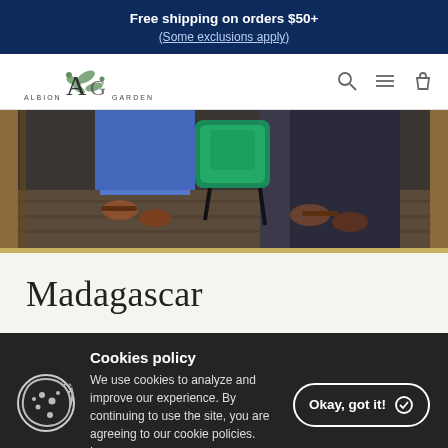Free shipping on orders $50+
(Some exclusions apply)
[Figure (logo): Albion & Garden logo with floral decoration]
[Figure (photo): Top-down view of children's feet and bags]
Madagascar
Cookies policy
We use cookies to analyze and improve our experience. By continuing to use the site, you are agreeing to our cookie policies. Learn more »